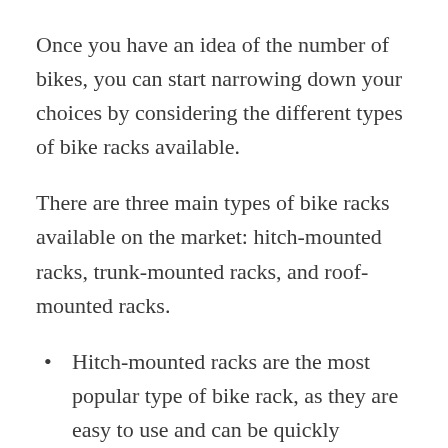Once you have an idea of the number of bikes, you can start narrowing down your choices by considering the different types of bike racks available.
There are three main types of bike racks available on the market: hitch-mounted racks, trunk-mounted racks, and roof-mounted racks.
Hitch-mounted racks are the most popular type of bike rack, as they are easy to use and can be quickly installed on most vehicles.
Trunk-mounted racks are a good option for those who have limited space, as they can be easily stored in the trunk when not in use.